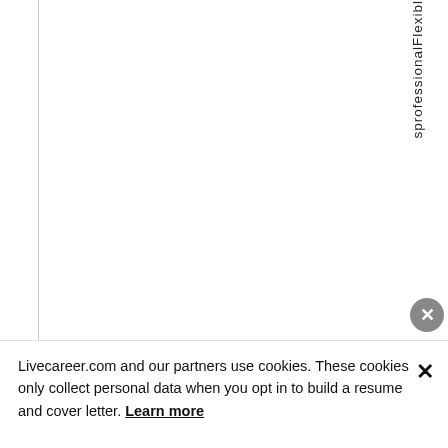sprofessionalFlexi bl
Livecareer.com and our partners use cookies. These cookies only collect personal data when you opt in to build a resume and cover letter. Learn more